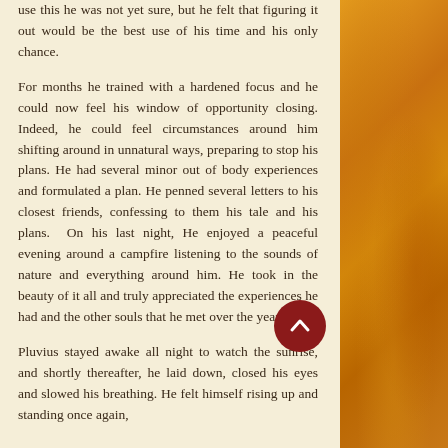use this he was not yet sure, but he felt that figuring it out would be the best use of his time and his only chance.

For months he trained with a hardened focus and he could now feel his window of opportunity closing. Indeed, he could feel circumstances around him shifting around in unnatural ways, preparing to stop his plans. He had several minor out of body experiences and formulated a plan. He penned several letters to his closest friends, confessing to them his tale and his plans.  On his last night, He enjoyed a peaceful evening around a campfire listening to the sounds of nature and everything around him. He took in the beauty of it all and truly appreciated the experiences he had and the other souls that he met over the years.

Pluvius stayed awake all night to watch the sunrise, and shortly thereafter, he laid down, closed his eyes and slowed his breathing. He felt himself rising up and standing once again,